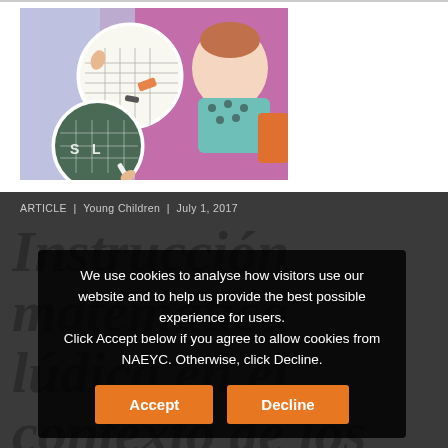[Figure (photo): Composite photo showing children doing math activities: two circular inset images of hands writing on grid paper and a chalkboard with letters/numbers, set against a background image of a young girl in a polka dot shirt sitting in a colorful classroom.]
ARTICLE  |  Young Children  |  July 1, 2017
Instrucción matemática lúdica en el contexto de los estándares y de la disciplina...
We use cookies to analyse how visitors use our website and to help us provide the best possible experience for users.
Click Accept below if you agree to allow cookies from NAEYC. Otherwise, click Decline.
Accept
Decline